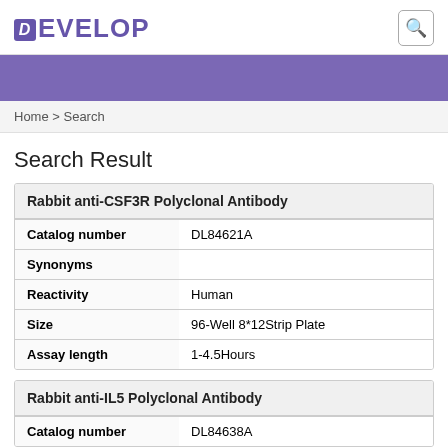DEVELOP
[Figure (other): Purple banner bar]
Home > Search
Search Result
| Rabbit anti-CSF3R Polyclonal Antibody |
| --- |
| Catalog number | DL84621A |
| Synonyms |  |
| Reactivity | Human |
| Size | 96-Well 8*12Strip Plate |
| Assay length | 1-4.5Hours |
| Rabbit anti-IL5 Polyclonal Antibody |
| --- |
| Catalog number | DL84638A |